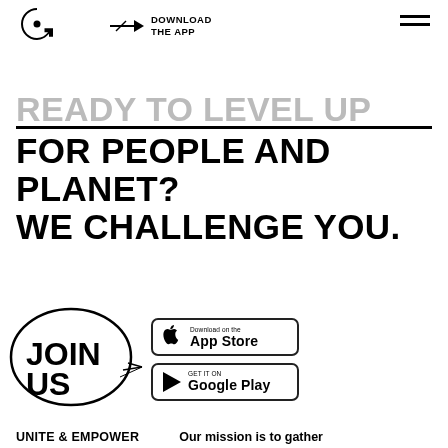[Figure (logo): Circular arrow logo mark in black]
DOWNLOAD THE APP
[Figure (illustration): Navigation hamburger menu (three horizontal lines)]
READY TO LEVEL UP
FOR PEOPLE AND PLANET?
WE CHALLENGE YOU.
[Figure (illustration): JOIN US text inside an oval speech bubble with arrow]
[Figure (illustration): Download on the App Store button]
[Figure (illustration): GET IT ON Google Play button]
UNITE & EMPOWER
Our mission is to gather